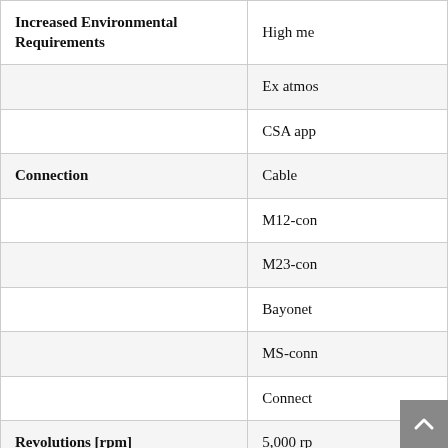|  |  |
| --- | --- |
| Increased Environmental Requirements | High me |
|  | Ex atmos |
|  | CSA app |
| Connection | Cable |
|  | M12-con |
|  | M23-con |
|  | Bayonet |
|  | MS-conn |
|  | Connect |
| Revolutions [rpm] | 5,000 rp |
| Number of Pulses | 15 ... 500 |